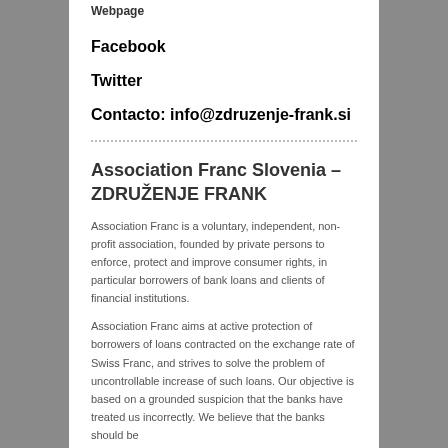Webpage
Facebook
Twitter
Contacto: info@zdruzenje-frank.si
Association Franc Slovenia – ZDRUŽENJE FRANK
Association Franc is a voluntary, independent, non-profit association, founded by private persons to enforce, protect and improve consumer rights, in particular borrowers of bank loans and clients of financial institutions.
Association Franc aims at active protection of borrowers of loans contracted on the exchange rate of Swiss Franc, and strives to solve the problem of uncontrollable increase of such loans. Our objective is based on a grounded suspicion that the banks have treated us incorrectly. We believe that the banks should be